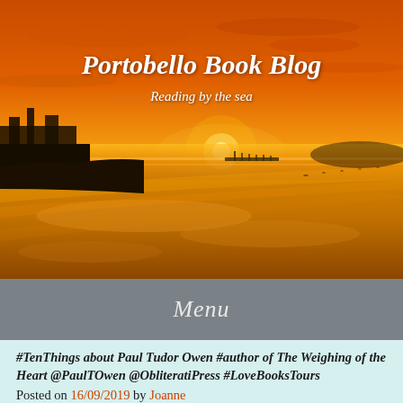[Figure (photo): Sunset beach scene with orange and golden sky reflected on wet sand, silhouettes of buildings on the left horizon and distant hills on the right]
Portobello Book Blog
Reading by the sea
Menu
#TenThings about Paul Tudor Owen #author of The Weighing of the Heart @PaulTOwen @ObliteratiPress #LoveBooksTours
Posted on 16/09/2019 by Joanne